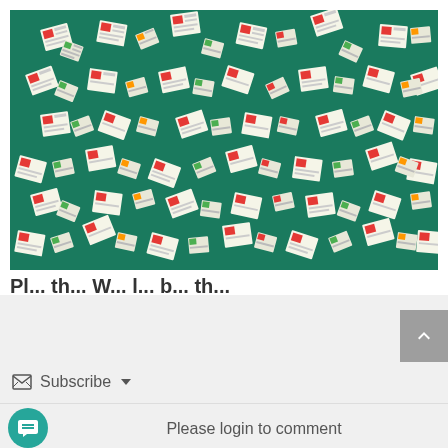[Figure (illustration): Teal/green background with repeating scattered newspaper/document icons in white, red, and cream colors, shown at various angles. The pattern fills the entire image area.]
Pl... th... W... l... b... th... ati...
Subscribe ▼
Please login to comment